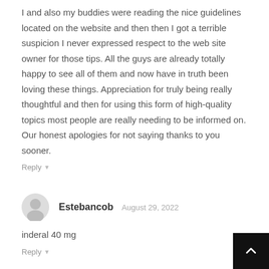I and also my buddies were reading the nice guidelines located on the website and then then I got a terrible suspicion I never expressed respect to the web site owner for those tips. All the guys are already totally happy to see all of them and now have in truth been loving these things. Appreciation for truly being really thoughtful and then for using this form of high-quality topics most people are really needing to be informed on. Our honest apologies for not saying thanks to you sooner.
Reply
Estebancob  August 29, 2022
inderal 40 mg
Reply
Kyrie 6 shoes  August 30, 2022
I and also my guys appeared to be looking at the good thou...